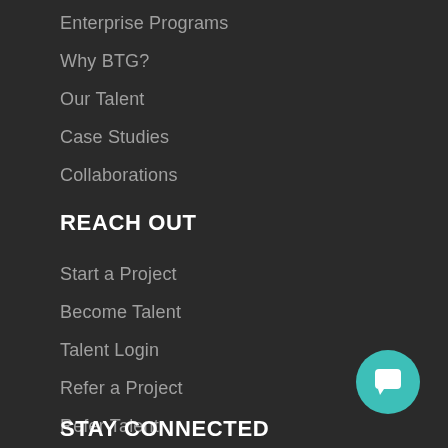Enterprise Programs
Why BTG?
Our Talent
Case Studies
Collaborations
REACH OUT
Start a Project
Become Talent
Talent Login
Refer a Project
Refer Talent
Contact Us
[Figure (illustration): Teal circular chat/message button icon in the bottom right corner]
STAY CONNECTED